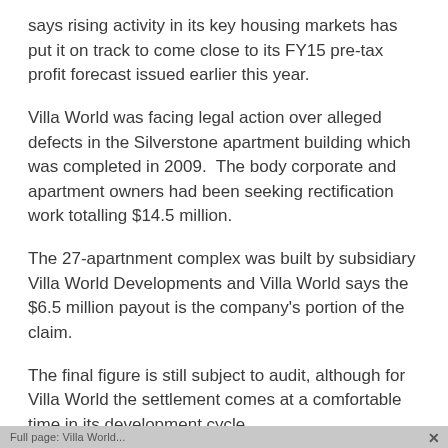says rising activity in its key housing markets has put it on track to come close to its FY15 pre-tax profit forecast issued earlier this year.
Villa World was facing legal action over alleged defects in the Silverstone apartment building which was completed in 2009.  The body corporate and apartment owners had been seeking rectification work totalling $14.5 million.
The 27-apartnment complex was built by subsidiary Villa World Developments and Villa World says the $6.5 million payout is the company's portion of the claim.
The final figure is still subject to audit, although for Villa World the settlement comes at a comfortable time in its development cycle.
The company says the average sales rate across its portfolio has risen from 58.7 per month in the first half of this financial year to 82 in the third quarter.
Full page: Villa World...